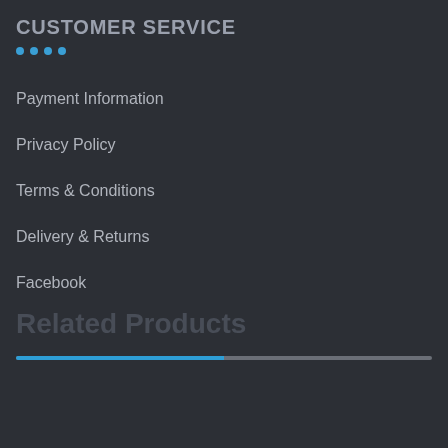CUSTOMER SERVICE
Payment Information
Privacy Policy
Terms & Conditions
Delivery & Returns
Facebook
Related Products